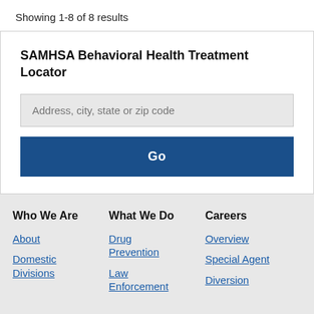Showing 1-8 of 8 results
SAMHSA Behavioral Health Treatment Locator
[Figure (screenshot): Search input field with placeholder text 'Address, city, state or zip code' and a blue Go button below it]
Who We Are
What We Do
Careers
About
Domestic Divisions
Drug Prevention
Law Enforcement
Overview
Special Agent
Diversion